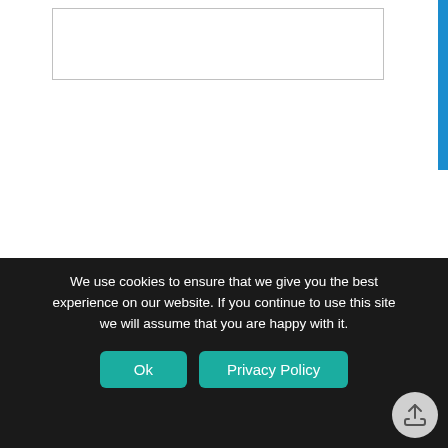[Figure (screenshot): Empty text input field with light gray border]
SAVE MY NAME, EMAIL, AND WEBSITE IN THIS BROWSER FOR THE NEXT TIME I COMMENT.
BY USING THIS FORM YOU AGREE WITH THE STORAGE AND HANDLING OF YOUR DATA BY THIS WEBSITE. *
We use cookies to ensure that we give you the best experience on our website. If you continue to use this site we will assume that you are happy with it.